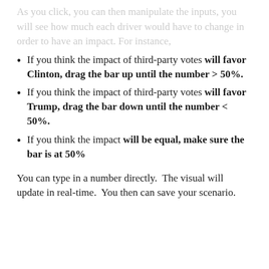As you click, you can then manipulate the inputs, you will see how much each driver would have to change in order to have an impact. For instance,
If you think the impact of third-party votes will favor Clinton, drag the bar up until the number > 50%.
If you think the impact of third-party votes will favor Trump, drag the bar down until the number < 50%.
If you think the impact will be equal, make sure the bar is at 50%
You can type in a number directly.  The visual will update in real-time.  You then can save your scenario.